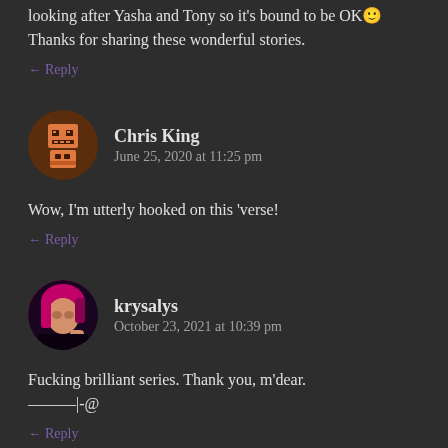looking after Yasha and Tony so it's bound to be OK🙂 Thanks for sharing these wonderful stories.
← Reply
Chris King
June 25, 2020 at 11:25 pm
Wow, I'm utterly hooked on this 'verse!
← Reply
krysalys
October 23, 2021 at 10:39 pm
Fucking brilliant series. Thank you, m'dear.
———|-@
← Reply